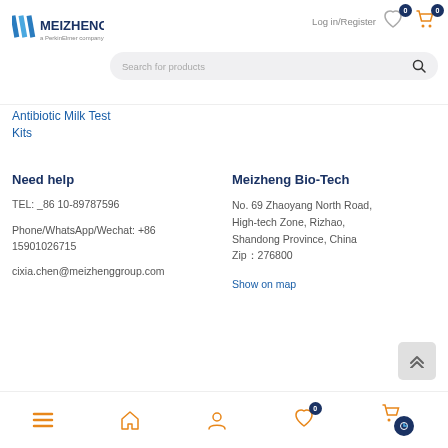MEIZHENG - a PerkinElmer company | Log in/Register | Search for products
Antibiotic Milk Test Kits
Need help
TEL: _86 10-89787596
Phone/WhatsApp/Wechat: +86 15901026715
cixia.chen@meizhenggroup.com
Meizheng Bio-Tech
No. 69 Zhaoyang North Road, High-tech Zone, Rizhao, Shandong Province, China Zip：276800
Show on map
Bottom navigation: menu, home, account, wishlist (0), cart, chat